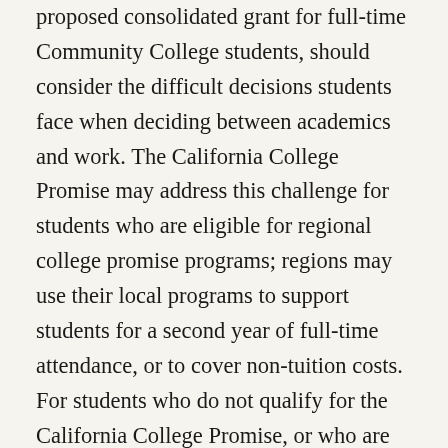proposed consolidated grant for full-time Community College students, should consider the difficult decisions students face when deciding between academics and work. The California College Promise may address this challenge for students who are eligible for regional college promise programs; regions may use their local programs to support students for a second year of full-time attendance, or to cover non-tuition costs. For students who do not qualify for the California College Promise, or who are not additionally covered by a regional college promise program, a solution has yet to be offered.